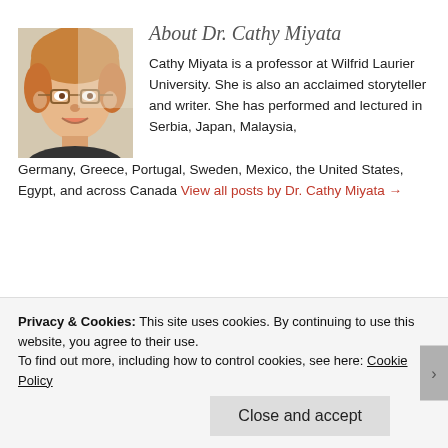[Figure (photo): Headshot photo of Dr. Cathy Miyata, a woman with short blonde/auburn hair wearing glasses, smiling]
About Dr. Cathy Miyata
Cathy Miyata is a professor at Wilfrid Laurier University. She is also an acclaimed storyteller and writer. She has performed and lectured in Serbia, Japan, Malaysia, Germany, Greece, Portugal, Sweden, Mexico, the United States, Egypt, and across Canada View all posts by Dr. Cathy Miyata →
A Lighthearted Look at the Challenges of
Privacy & Cookies: This site uses cookies. By continuing to use this website, you agree to their use.
To find out more, including how to control cookies, see here: Cookie Policy
Close and accept